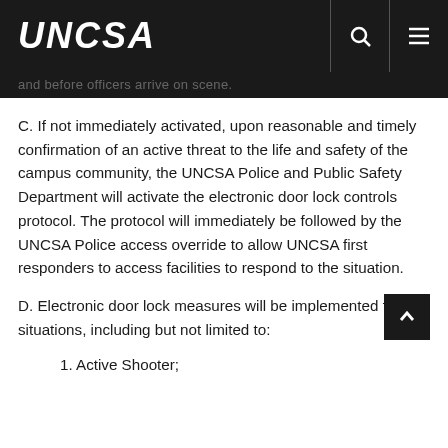UNCSA
and before officers arrive on scene.
C. If not immediately activated, upon reasonable and timely confirmation of an active threat to the life and safety of the campus community, the UNCSA Police and Public Safety Department will activate the electronic door lock controls protocol. The protocol will immediately be followed by the UNCSA Police access override to allow UNCSA first responders to access facilities to respond to the situation.
D. Electronic door lock measures will be implemented for situations, including but not limited to:
1. Active Shooter;